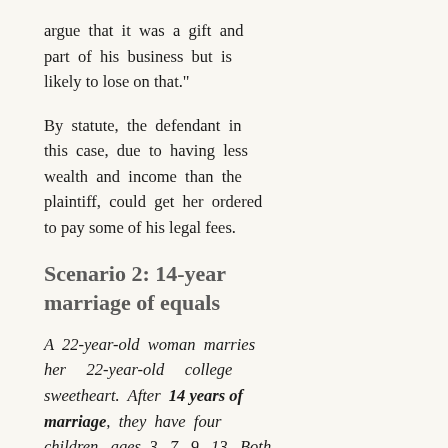argue that it was a gift and part of his business but is likely to lose on that."
By statute, the defendant in this case, due to having less wealth and income than the plaintiff, could get her ordered to pay some of his legal fees.
Scenario 2: 14-year marriage of equals
A 22-year-old woman marries her 22-year-old college sweetheart. After 14 years of marriage, they have four children, ages 3, 7, 9, 13. Both parents are public school